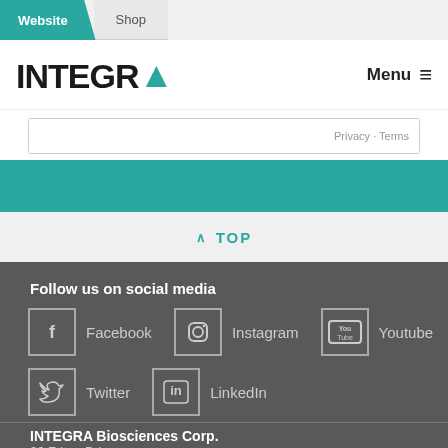Website | Shop
[Figure (logo): INTEGRA logo with teal A]
Privacy · Terms
^ TOP
Follow us on social media
Facebook
Instagram
Youtube
Twitter
LinkedIn
INTEGRA Biosciences Corp.
22 Friars Drive